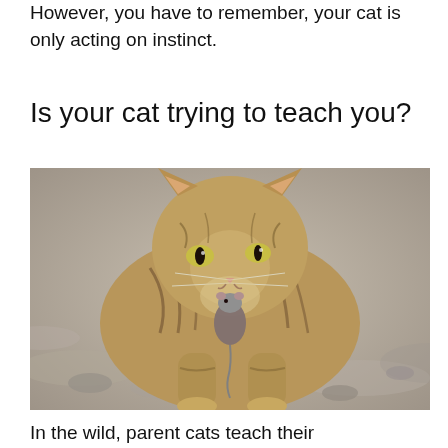However, you have to remember, your cat is only acting on instinct.
Is your cat trying to teach you?
[Figure (photo): A tabby cat carrying a small mouse in its mouth, photographed outdoors on a rocky/gravelly ground with a blurred background.]
In the wild, parent cats teach their